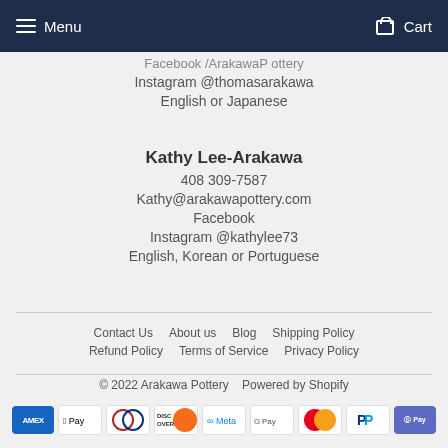Menu  Cart
Facebook /ArakawaP ottery
Instagram @thomasarakawa
English or Japanese
Kathy Lee-Arakawa
408 309-7587
Kathy@arakawapottery.com
Facebook
Instagram @kathylee73
English, Korean or Portuguese
Contact Us  About us  Blog  Shipping Policy  Refund Policy  Terms of Service  Privacy Policy
© 2022 Arakawa Pottery  Powered by Shopify